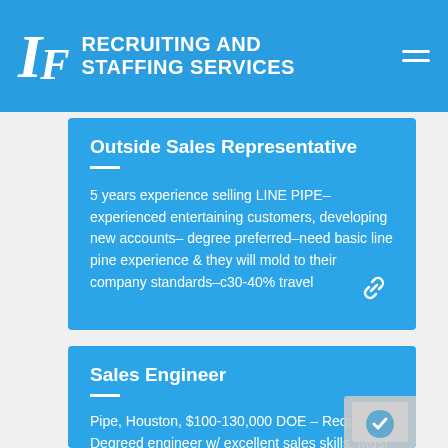IF RECRUITING AND STAFFING SERVICES
Outside Sales Representative
5 years experience selling  LINE PIPE– experienced entertaining customers, developing new accounts– degree preferred–need basic line pine experience & they will mold to their company standards–c30-40% travel
Sales Engineer
Pipe, Houston, $100-130,000 DOE – Requires Degreed engineer w/ excellent sales skills.  Must be